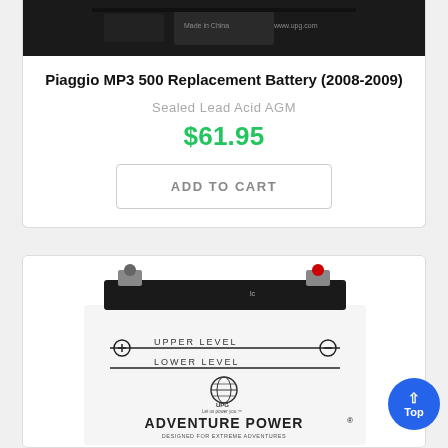[Figure (photo): Product image of a sealed AGM battery (black casing, white label) on dark background, partially cropped at top]
Piaggio MP3 500 Replacement Battery (2008-2009)
Sealed Lead Acid AGM
$61.95
ADD TO CART
[Figure (photo): Product image of an Adventure Power battery with white casing showing UPPER LEVEL and LOWER LEVEL markings, plus/minus terminal indicators, UPO globe logo, and 'ADVENTURE POWER DESIGNED FOR EXTREME ADVENTURES' text]